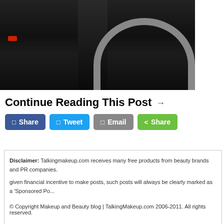[Figure (photo): Dark photo showing black leather clothing/pants and a car wheel on pavement, with a red light visible on the left side]
Continue Reading This Post →
Share buttons: Share (Facebook), Tweet (Twitter), Email, Share (green)
Disclaimer: Talkingmakeup.com receives many free products from beauty brands and PR companies. given financial incentive to make posts, such posts will always be clearly marked as a 'Sponsored Po...
© Copyright Makeup and Beauty blog | TalkingMakeup.com 2006-2011. All rights reserved.